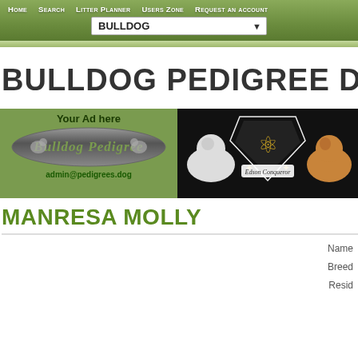Home   Search   Litter Planner   Users Zone   Request an account   BULLDOG [dropdown]
BULLDOG PEDIGREE DATABAS
[Figure (illustration): Left ad banner: green background with 'Your Ad here' text, Bulldog Pedigree oval logo with two bulldogs, and email admin@pedigrees.dog]
[Figure (illustration): Right ad banner: black background with Edson Conqueror logo showing a crest/shield with lion, flanked by two bulldogs]
MANRESA MOLLY
Name
Breed
Resid